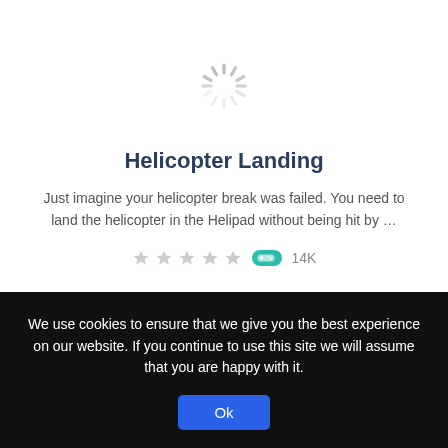[Figure (illustration): Loading spinner icon — circular dashed spokes in light gray, indicating a loading state]
Helicopter Landing
Just imagine your helicopter break was failed. You need to land the helicopter in the Helipad without being hit by …
★★★★★  🎮  14K
We use cookies to ensure that we give you the best experience on our website. If you continue to use this site we will assume that you are happy with it.
Ok